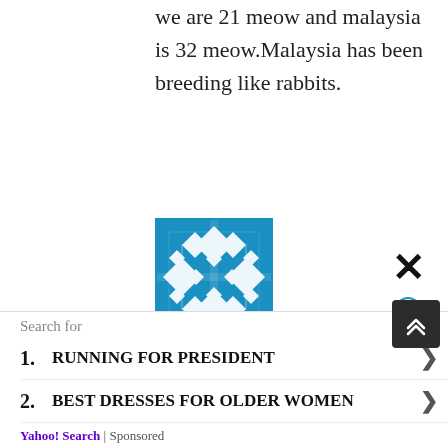we are 21 meow and malaysia is 32 meow.Malaysia has been breeding like rabbits.
[Figure (illustration): Blue and white geometric pattern avatar/profile image]
SL kolla / April 5, 2019
[Figure (infographic): Thumbs up (green) vote button showing 6, thumbs down (red) vote button showing 4]
Rest in Peace, ‘Sinhala Buddhist Sri Lanka’. It is the phrase ‘Sinhala Buddhist’ which prevents the development of this country. Compare with Singapore, where talent, skill...
Search for
1. RUNNING FOR PRESIDENT
2. BEST DRESSES FOR OLDER WOMEN
Yahoo! Search | Sponsored